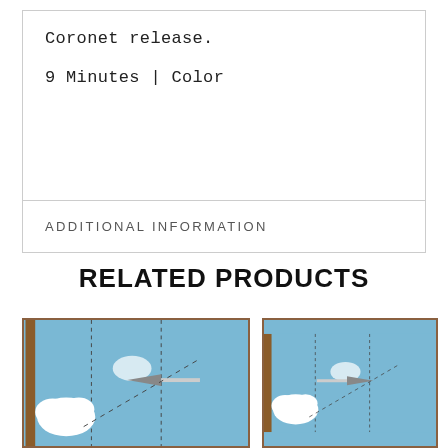Coronet release.
9 Minutes | Color
ADDITIONAL INFORMATION
RELATED PRODUCTS
[Figure (illustration): Cartoon illustration showing clouds and an arrow/plane in a blue sky, left panel]
[Figure (illustration): Cartoon illustration showing clouds and an arrow/plane in a blue sky, right panel]